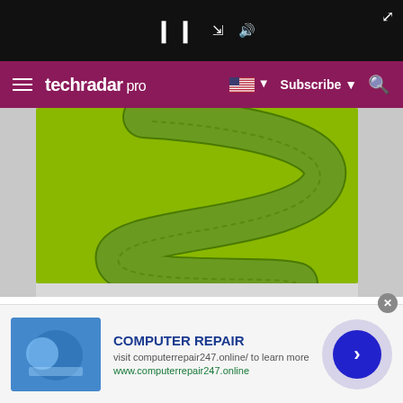techradar pro
[Figure (photo): Green snake or worm-like object on a bright green background, curving in an S-shape]
Then there's a a TI OMAP4 processor. It's not exactly the fastest chip in Christendom. Many smartphones have more powerful CPUs. By it chugs along at a respectable 1GHz and sports two cores.
[Figure (photo): Advertisement: COMPUTER REPAIR - visit computerrepair247.online/ to learn more - www.computerrepair247.online]